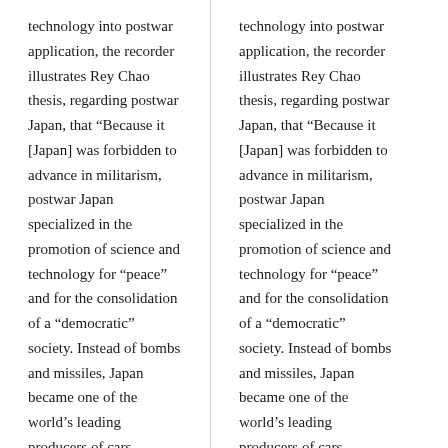technology into postwar application, the recorder illustrates Rey Chao thesis, regarding postwar Japan, that “Because it [Japan] was forbidden to advance in militarism, postwar Japan specialized in the promotion of science and technology for “peace” and for the consolidation of a “democratic” society. Instead of bombs and missiles, Japan became one of the world’s leading producers of cars, computers, and other types of “high-tech” equipment.”(Age of the World Target, 34) By reversing Japan’s role as the war time “defeated” and “subjugated”, postwar economic
technology into postwar application, the recorder illustrates Rey Chao thesis, regarding postwar Japan, that “Because it [Japan] was forbidden to advance in militarism, postwar Japan specialized in the promotion of science and technology for “peace” and for the consolidation of a “democratic” society. Instead of bombs and missiles, Japan became one of the world’s leading producers of cars, computers, and other types of “high-tech” equipment.”(Age of the World Target, 34) By reversing Japan’s role as the war time “defeated” and “subjugated”, postwar economic